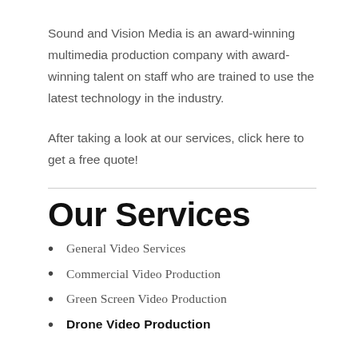Sound and Vision Media is an award-winning multimedia production company with award-winning talent on staff who are trained to use the latest technology in the industry.
After taking a look at our services, click here to get a free quote!
Our Services
General Video Services
Commercial Video Production
Green Screen Video Production
Drone Video Production